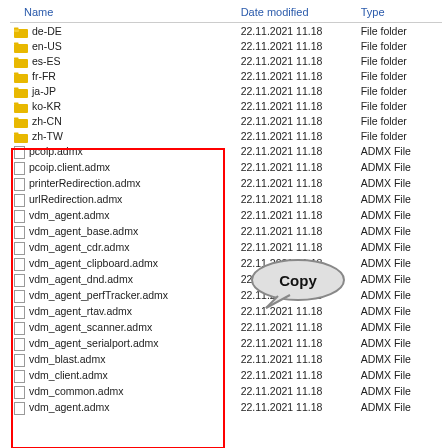| Name | Date modified | Type |
| --- | --- | --- |
| de-DE | 22.11.2021 11.18 | File folder |
| en-US | 22.11.2021 11.18 | File folder |
| es-ES | 22.11.2021 11.18 | File folder |
| fr-FR | 22.11.2021 11.18 | File folder |
| ja-JP | 22.11.2021 11.18 | File folder |
| ko-KR | 22.11.2021 11.18 | File folder |
| zh-CN | 22.11.2021 11.18 | File folder |
| zh-TW | 22.11.2021 11.18 | File folder |
| pcoip.admx | 22.11.2021 11.18 | ADMX File |
| pcoip.client.admx | 22.11.2021 11.18 | ADMX File |
| printerRedirection.admx | 22.11.2021 11.18 | ADMX File |
| urlRedirection.admx | 22.11.2021 11.18 | ADMX File |
| vdm_agent.admx | 22.11.2021 11.18 | ADMX File |
| vdm_agent_base.admx | 22.11.2021 11.18 | ADMX File |
| vdm_agent_cdr.admx | 22.11.2021 11.18 | ADMX File |
| vdm_agent_clipboard.admx | 22.11.2021 11.18 | ADMX File |
| vdm_agent_dnd.admx | 22.11.2021 11.18 | ADMX File |
| vdm_agent_perfTracker.admx | 22.11.2021 11.18 | ADMX File |
| vdm_agent_rtav.admx | 22.11.2021 11.18 | ADMX File |
| vdm_agent_scanner.admx | 22.11.2021 11.18 | ADMX File |
| vdm_agent_serialport.admx | 22.11.2021 11.18 | ADMX File |
| vdm_blast.admx | 22.11.2021 11.18 | ADMX File |
| vdm_client.admx | 22.11.2021 11.18 | ADMX File |
| vdm_common.admx | 22.11.2021 11.18 | ADMX File |
| vdm_agent.admx | 22.11.2021 11.18 | ADMX File |
[Figure (other): Speech bubble callout labeled 'Copy' overlaid on the file listing, indicating files to be copied]